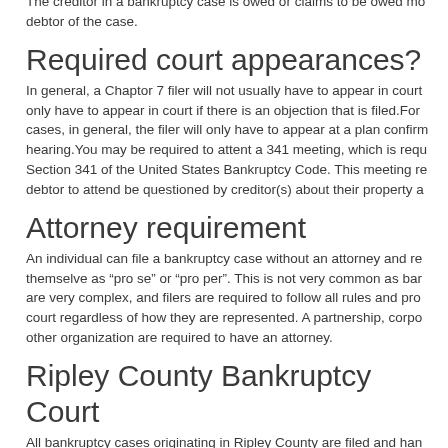The creditor in a bankruptcy case is owed or claims to be owed money by the debtor of the case.
Required court appearances?
In general, a Chaptor 7 filer will not usually have to appear in court. They only have to appear in court if there is an objection that is filed.For other cases, in general, the filer will only have to appear at a plan confirmation hearing.You may be required to attent a 341 meeting, which is required by Section 341 of the United States Bankruptcy Code. This meeting requires the debtor to attend be questioned by creditor(s) about their property a...
Attorney requirement
An individual can file a bankruptcy case without an attorney and represent themselve as “pro se” or “pro per”. This is not very common as bankruptcy are very complex, and filers are required to follow all rules and procedures of court regardless of how they are represented. A partnership, corporation or other organization are required to have an attorney.
Ripley County Bankruptcy Court
All bankruptcy cases originating in Ripley County are filed and han... Southern District of Indiana, United States Bankruptcy Court. There...